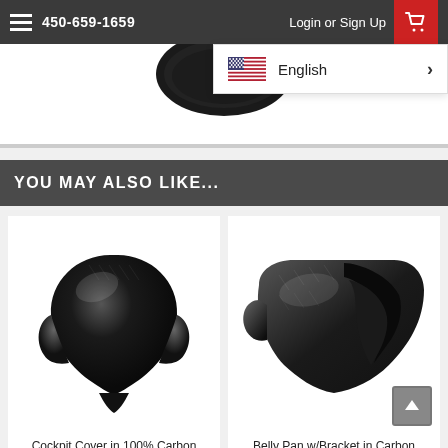450-659-1659  Login or Sign Up
[Figure (screenshot): Language selector dropdown showing US flag and 'English' with a right arrow chevron]
[Figure (photo): Dark carbon fiber cockpit cover product image (partially visible at top of page)]
YOU MAY ALSO LIKE...
[Figure (photo): Cockpit Cover in 100% Carbon fiber product photo showing glossy black carbon fiber shield-shaped cover]
[Figure (photo): Belly Pan w/Bracket in Carbon fiber product photo showing glossy dark carbon fiber fairing piece]
Cockpit Cover in 100% Carbon
Belly Pan w/Bracket in Carbon